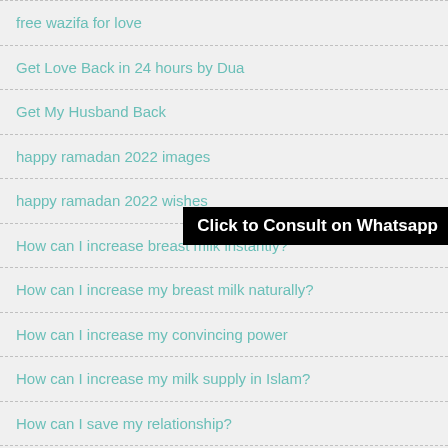free wazifa for love
Get Love Back in 24 hours by Dua
Get My Husband Back
happy ramadan 2022 images
happy ramadan 2022 wishes
Click to Consult on Whatsapp
How can I increase breast milk instantly?
How can I increase my breast milk naturally?
How can I increase my convincing power
How can I increase my milk supply in Islam?
How can I save my relationship?